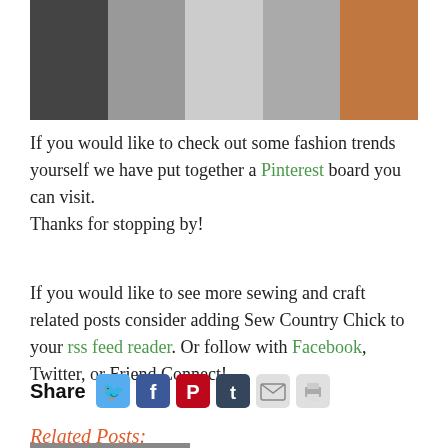[Figure (photo): A strip of fashion runway photos showing models in various patterned outfits including houndstooth, checkered, and floral prints]
If you would like to check out some fashion trends yourself we have put together a Pinterest board you can visit. Thanks for stopping by!
If you would like to see more sewing and craft related posts consider adding Sew Country Chick to your rss feed reader. Or follow with Facebook, Twitter, or Friend Connect!
[Figure (infographic): Share bar with social media icons: Twitter (blue bird), Facebook (blue f), Pinterest (red P), Tumblr (blue t), Email (envelope), Print (printer)]
Related Posts:
[Figure (photo): Partial thumbnail image at bottom of page]